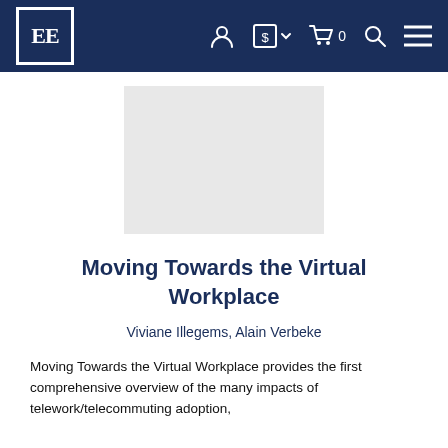EE [logo] navigation bar with user, currency, cart, search, and menu icons
[Figure (other): Book cover placeholder image area (light gray rectangle)]
Moving Towards the Virtual Workplace
Viviane Illegems, Alain Verbeke
Moving Towards the Virtual Workplace provides the first comprehensive overview of the many impacts of telework/telecommuting adoption, found in the economic and social domains.